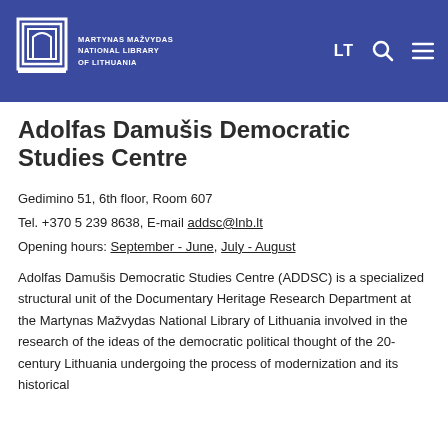Martynas Mažvydas National Library of Lithuania — LT
Adolfas Damušis Democratic Studies Centre
Gedimino 51, 6th floor, Room 607
Tel. +370 5 239 8638, E-mail addsc@lnb.lt
Opening hours: September - June, July - August
Adolfas Damušis Democratic Studies Centre (ADDSC) is a specialized structural unit of the Documentary Heritage Research Department at the Martynas Mažvydas National Library of Lithuania involved in the research of the ideas of the democratic political thought of the 20-century Lithuania undergoing the process of modernization and its historical